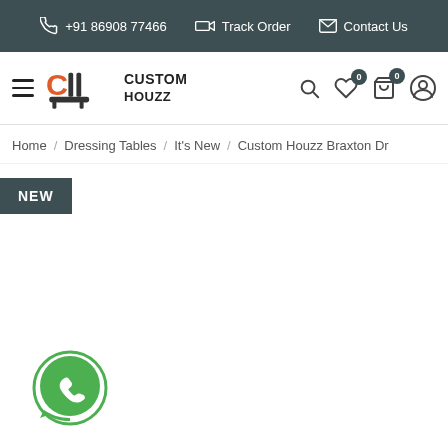+91 86908 77466  Track Order  Contact Us
[Figure (logo): Custom Houzz logo with sofa icon and nav icons including search, wishlist (0), cart (0), account]
Home / Dressing Tables / It's New / Custom Houzz Braxton Dr
NEW
[Figure (logo): WhatsApp contact button icon (green circle with phone handset)]